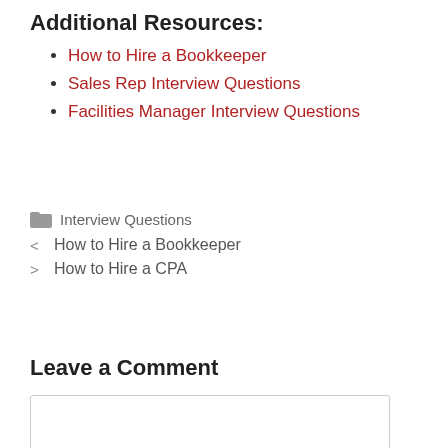Additional Resources:
How to Hire a Bookkeeper
Sales Rep Interview Questions
Facilities Manager Interview Questions
📁 Interview Questions
< How to Hire a Bookkeeper
> How to Hire a CPA
Leave a Comment